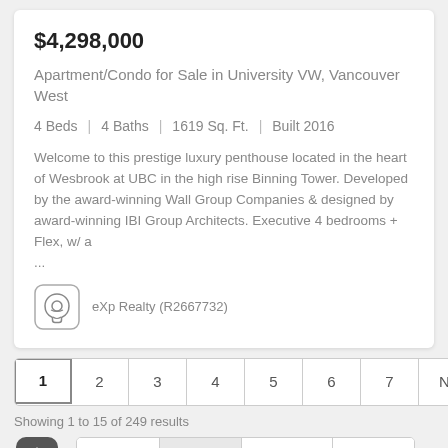$4,298,000
Apartment/Condo for Sale in University VW, Vancouver West
4 Beds | 4 Baths | 1619 Sq. Ft. | Built 2016
Welcome to this prestige luxury penthouse located in the heart of Wesbrook at UBC in the high rise Binning Tower. Developed by the award-winning Wall Group Companies & designed by award-winning IBI Group Architects. Executive 4 bedrooms + Flex, w/ a ...
eXp Realty (R2667732)
1 2 3 4 5 6 7 Next >
Showing 1 to 15 of 249 results
Grid | List | Table | Map